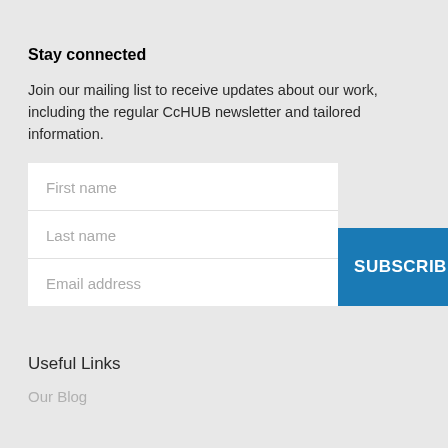Stay connected
Join our mailing list to receive updates about our work, including the regular CcHUB newsletter and tailored information.
[Figure (screenshot): A web form with three input fields (First name, Last name, Email address) on a white background, and a blue SUBSCRIBE! button aligned to the bottom right of the form.]
Useful Links
Our Blog